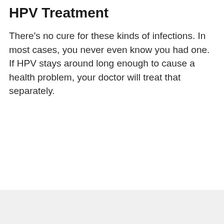HPV Treatment
There's no cure for these kinds of infections. In most cases, you never even know you had one. If HPV stays around long enough to cause a health problem, your doctor will treat that separately.